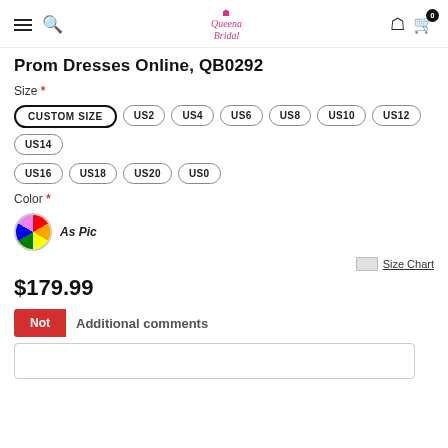Queena Bridal navigation header with menu, search, logo, account, cart (0)
Prom Dresses Online, QB0292
Size *
CUSTOM SIZE
US2
US4
US6
US8
US10
US12
US14
US16
US18
US20
US0
Color *
As Pic
Size Chart
$179.99
Note  Additional comments